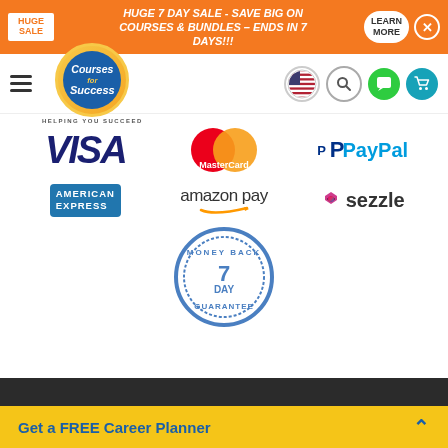[Figure (infographic): Orange sale banner: HUGE 7 DAY SALE - SAVE BIG ON COURSES & BUNDLES – ENDS IN 7 DAYS!!! with LEARN MORE button and close X]
[Figure (logo): Courses for Success logo with 'HELPING YOU SUCCEED' tagline and navigation icons (flag, search, chat, cart)]
[Figure (infographic): Payment method logos: VISA, MasterCard, PayPal, American Express, Amazon Pay, Sezzle]
[Figure (infographic): 7 Day Money Back Guarantee badge]
Get a FREE Career Planner